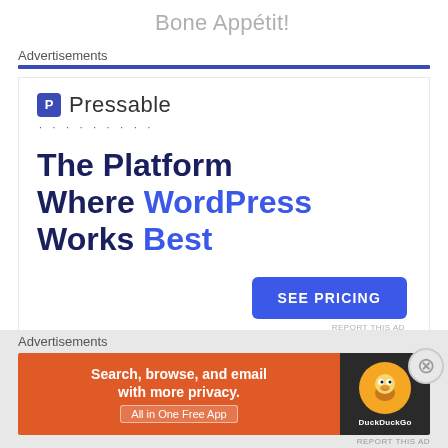Bone Appétit!
Advertisements
[Figure (infographic): Pressable advertisement: logo with P icon and 'Pressable' name, dotted line, tagline 'The Platform Where WordPress Works Best', blue 'SEE PRICING' button, REPORT THIS AD text]
Advertisements
[Figure (infographic): DuckDuckGo advertisement banner: orange left side with 'Search, browse, and email with more privacy. All in One Free App', dark right side with DuckDuckGo duck logo]